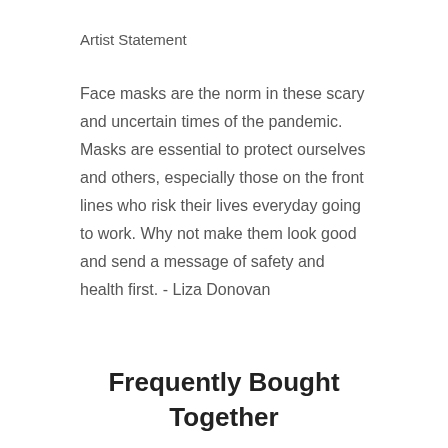Artist Statement
Face masks are the norm in these scary and uncertain times of the pandemic. Masks are essential to protect ourselves and others, especially those on the front lines who risk their lives everyday going to work. Why not make them look good and send a message of safety and health first. - Liza Donovan
Frequently Bought Together